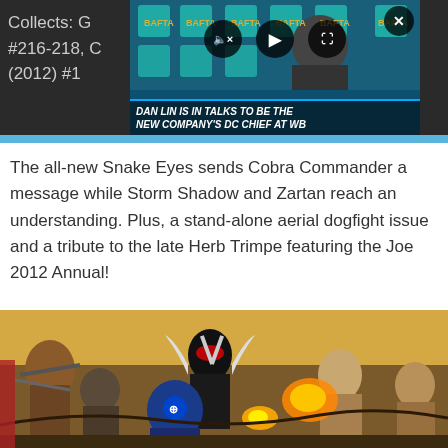Collects: G... (2010) #216-218, C... Annual (2012) #1
[Figure (screenshot): Video overlay showing a man (Dan Lin) at a BAFTA event with teal and gold BAFTA badges in background. Video controls (mute, play, expand) and close button visible. Caption reads: DAN LIN IS IN TALKS TO BE THE NEW COMPANY'S DC CHIEF AT WB]
The all-new Snake Eyes sends Cobra Commander a message while Storm Shadow and Zartan reach an understanding. Plus, a stand-alone aerial dogfight issue and a tribute to the late Herb Trimpe featuring the Joe 2012 Annual!
[Figure (illustration): Comic book artwork showing Snake Eyes and other G.I. Joe characters in an action battle scene with weapons, punching, and combat.]